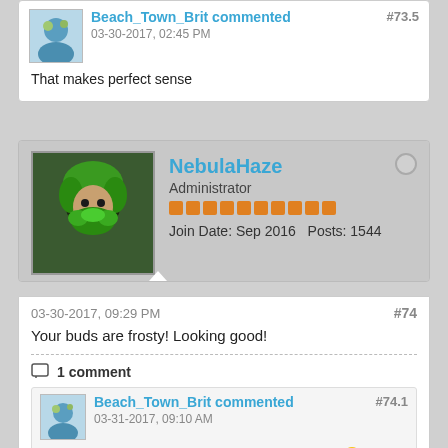Beach_Town_Brit commented 03-30-2017, 02:45 PM #73.5
That makes perfect sense
[Figure (photo): NebulaHaze user profile section: avatar of person with green hair, Administrator role, orange reputation bars, Join Date Sep 2016, Posts 1544]
03-30-2017, 09:29 PM #74
Your buds are frosty! Looking good!
1 comment
Beach_Town_Brit commented 03-31-2017, 09:10 AM #74.1
Thanks Nebula, I'll do some more trich pics later 🙂